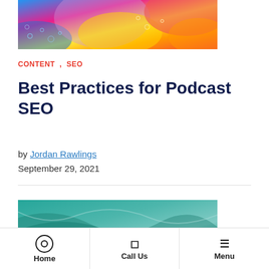[Figure (photo): Colorful abstract liquid art with blue, pink, yellow, orange, and red colors with bubbles]
CONTENT , SEO
Best Practices for Podcast SEO
by Jordan Rawlings
September 29, 2021
[Figure (photo): Abstract teal/green flowing liquid art]
Home   Call Us   Menu